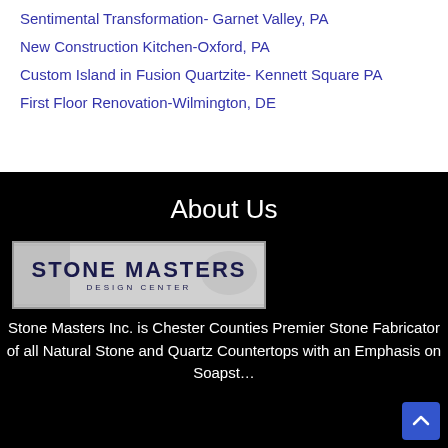Sentimental Transformation- Garnet Valley, PA
New Construction Kitchen-Oxford, PA
Custom Island in Fusion Quartzite- Kennett Square PA
First Floor Renovation-Wilmington, DE
About Us
[Figure (logo): Stone Masters Design Center logo — black text on grey background with decorative stone/horse illustration]
Stone Masters Inc. is Chester Counties Premier Stone Fabricator of all Natural Stone and Quartz Countertops with an Emphasis on Soapst…